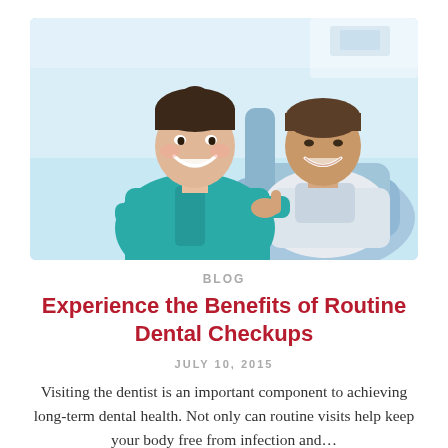[Figure (photo): A smiling female dental hygienist in teal scrubs giving a thumbs up, beside a smiling male patient reclining in a blue dental chair in a bright dental office.]
BLOG
Experience the Benefits of Routine Dental Checkups
JULY 10, 2015
Visiting the dentist is an important component to achieving long-term dental health. Not only can routine visits help keep your body free from infection and…